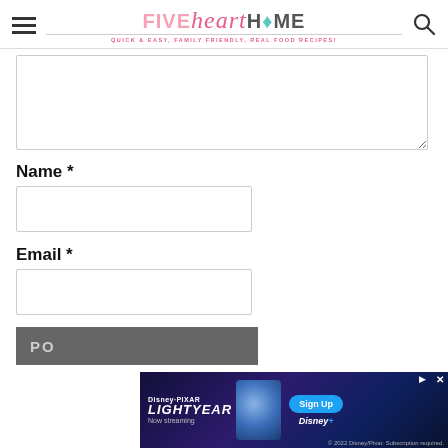FIVE heart HOME - Quick & Easy, Family Friendly, Real Food Recipes!
[Figure (screenshot): Comment textarea form field (empty, resizable)]
Name *
[Figure (screenshot): Name text input field (empty)]
Email *
[Figure (screenshot): Email text input field (empty)]
[Figure (screenshot): Post Comment button (partially visible, gray background)]
[Figure (screenshot): Disney Pixar Lightyear advertisement banner - Now streaming on Disney+, Sign Up button]